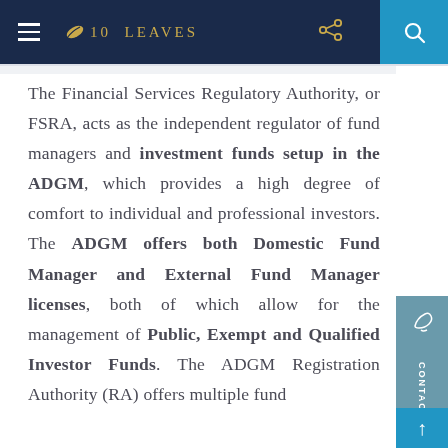10 LEAVES
The Financial Services Regulatory Authority, or FSRA, acts as the independent regulator of fund managers and investment funds setup in the ADGM, which provides a high degree of comfort to individual and professional investors. The ADGM offers both Domestic Fund Manager and External Fund Manager licenses, both of which allow for the management of Public, Exempt and Qualified Investor Funds. The ADGM Registration Authority (RA) offers multiple fund